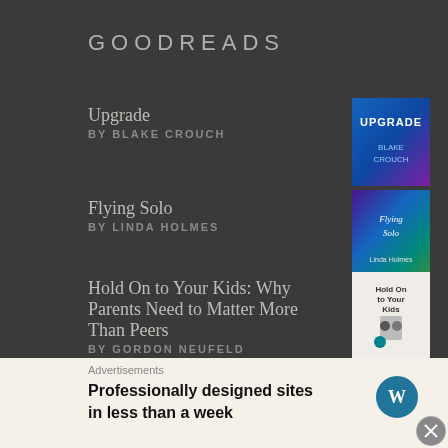GOODREADS
Upgrade
BY BLAKE CROUCH
[Figure (illustration): Book cover for 'Upgrade' by Blake Crouch — blue and purple tones with title text]
Flying Solo
BY LINDA HOLMES
[Figure (illustration): Book cover for 'Flying Solo' by Linda Holmes — colorful purple and green tones]
Hold On to Your Kids: Why Parents Need to Matter More Than Peers
BY GORDON NEUFELD
[Figure (illustration): Book cover for 'Hold On to Your Kids' by Gordon Neufeld — white/grey tones]
The Stand
BY STEPHEN KING
[Figure (illustration): Book cover for 'The Stand' by Stephen King — dark red and black tones]
Advertisements
Professionally designed sites in less than a week